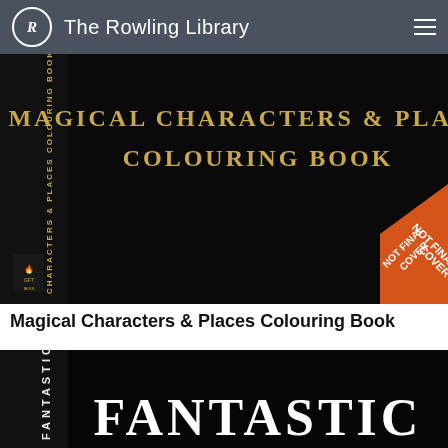The Rowling Library
[Figure (photo): Book cover of 'Magical Characters & Places Colouring Book' — black cover with gold serif title text, spine text rotated vertically, publisher logo bottom left, and orange 'NOT FINAL COVER' banner in bottom right corner]
Magical Characters & Places Colouring Book
[Figure (photo): Book cover showing 'FANTASTIC' in large white serif text on a black background, with spine text 'FANTASTIC' rotated vertically on the left side — partially cropped]